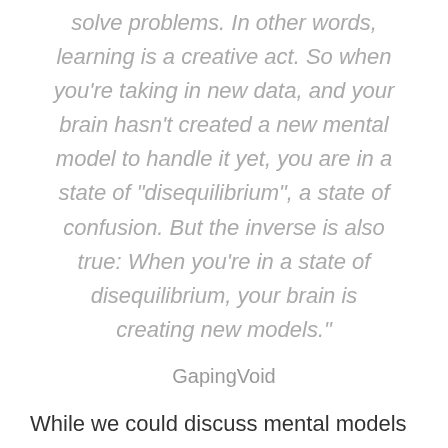solve problems. In other words, learning is a creative act. So when you're taking in new data, and your brain hasn't created a new mental model to handle it yet, you are in a state of “disequilibrium", a state of confusion. But the inverse is also true: When you're in a state of disequilibrium, your brain is creating new models."
GapingVoid
While we could discuss mental models for days let me just say Ideas are like marbles in the brain. They roll around but